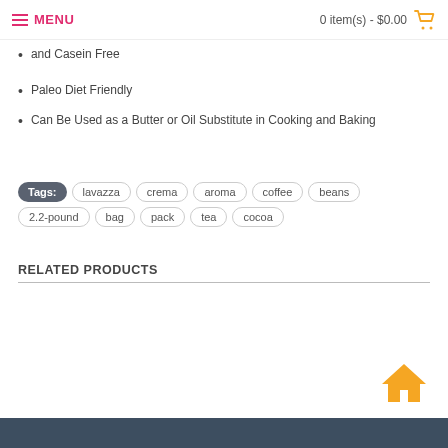MENU | 0 item(s) - $0.00
and Casein Free
Paleo Diet Friendly
Can Be Used as a Butter or Oil Substitute in Cooking and Baking
Tags: lavazza crema aroma coffee beans 2.2-pound bag pack tea cocoa
RELATED PRODUCTS
[Figure (other): Home icon button in orange]